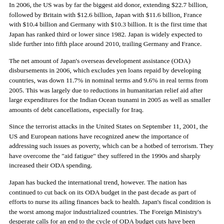In 2006, the US was by far the biggest aid donor, extending $22.7 billion, followed by Britain with $12.6 billion, Japan with $11.6 billion, France with $10.4 billion and Germany with $10.3 billion. It is the first time that Japan has ranked third or lower since 1982. Japan is widely expected to slide further into fifth place around 2010, trailing Germany and France.
The net amount of Japan's overseas development assistance (ODA) disbursements in 2006, which excludes yen loans repaid by developing countries, was down 11.7% in nominal terms and 9.6% in real terms from 2005. This was largely due to reductions in humanitarian relief aid after large expenditures for the Indian Ocean tsunami in 2005 as well as smaller amounts of debt cancellations, especially for Iraq.
Since the terrorist attacks in the United States on September 11, 2001, the US and European nations have recognized anew the importance of addressing such issues as poverty, which can be a hotbed of terrorism. They have overcome the "aid fatigue" they suffered in the 1990s and sharply increased their ODA spending.
Japan has bucked the international trend, however. The nation has continued to cut back on its ODA budget in the past decade as part of efforts to nurse its ailing finances back to health. Japan's fiscal condition is the worst among major industrialized countries. The Foreign Ministry's desperate calls for an end to the cycle of ODA budget cuts have been drowned out by much louder clamors for belt-tightening, especially from the Finance Ministry.